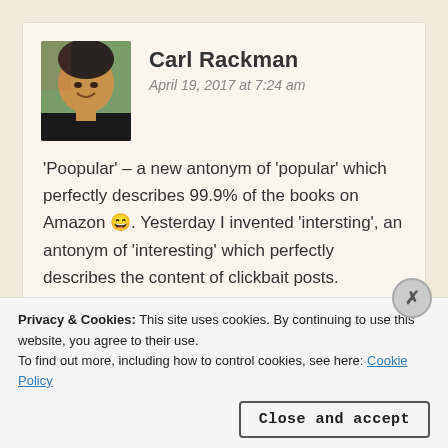Carl Rackman
April 19, 2017 at 7:24 am
‘Poopular’ – a new antonym of ‘popular’ which perfectly describes 99.9% of the books on Amazon 😄. Yesterday I invented ‘intersting’, an antonym of ‘interesting’ which perfectly describes the content of clickbait posts.
Liked by 8 people
Privacy & Cookies: This site uses cookies. By continuing to use this website, you agree to their use.
To find out more, including how to control cookies, see here: Cookie Policy
Close and accept